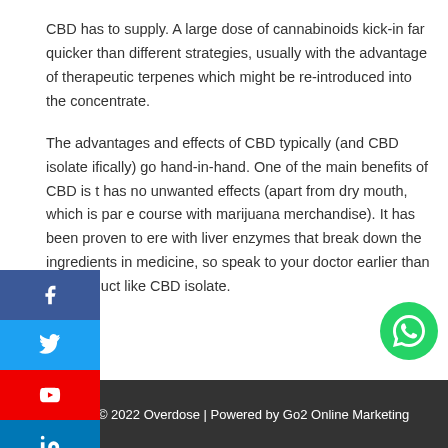CBD has to supply. A large dose of cannabinoids kick-in far quicker than different strategies, usually with the advantage of therapeutic terpenes which might be re-introduced into the concentrate.
The advantages and effects of CBD typically (and CBD isolate ifically) go hand-in-hand. One of the main benefits of CBD is t has no unwanted effects (apart from dry mouth, which is par e course with marijuana merchandise). It has been proven to ere with liver enzymes that break down the ingredients in medicine, so speak to your doctor earlier than taking a uct like CBD isolate.
← Previous Post    Next Post →
Copyright © 2022 Overdose | Powered by Go2 Online Marketing